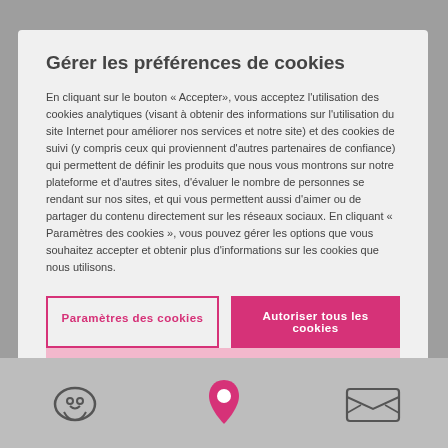Gérer les préférences de cookies
En cliquant sur le bouton « Accepter», vous acceptez l'utilisation des cookies analytiques (visant à obtenir des informations sur l'utilisation du site Internet pour améliorer nos services et notre site) et des cookies de suivi (y compris ceux qui proviennent d'autres partenaires de confiance) qui permettent de définir les produits que nous vous montrons sur notre plateforme et d'autres sites, d'évaluer le nombre de personnes se rendant sur nos sites, et qui vous permettent aussi d'aimer ou de partager du contenu directement sur les réseaux sociaux. En cliquant « Paramètres des cookies », vous pouvez gérer les options que vous souhaitez accepter et obtenir plus d'informations sur les cookies que nous utilisons.
Paramètres des cookies
Autoriser tous les cookies
Camplings à proximité